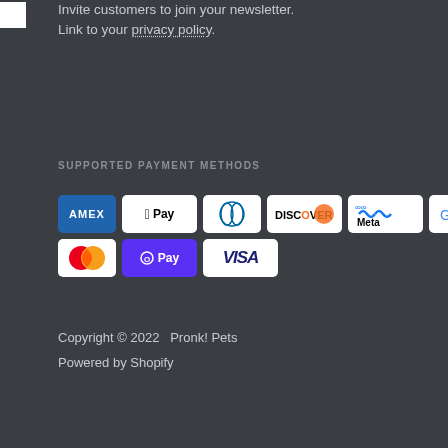Invite customers to join your newsletter. Link to your privacy policy.
SUPPORTED PAYMENT METHODS
[Figure (illustration): Payment method icons: AMEX, Apple Pay, Diners Club, Discover, Meta Pay, Google Pay, Mastercard, Shop Pay, Visa]
Copyright © 2022  Pronk! Pets
Powered by Shopify